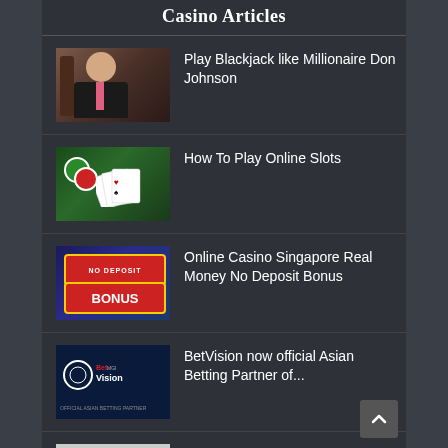Casino Articles
Play Blackjack like Millionaire Don Johnson
How To Play Online Slots
Online Casino Singapore Real Money No Deposit Bonus
BetVision now official Asian Betting Partner of...
What are the Best Devices for Mobile